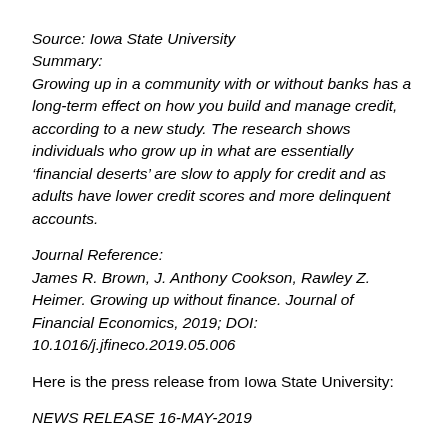Source: Iowa State University
Summary:
Growing up in a community with or without banks has a long-term effect on how you build and manage credit, according to a new study. The research shows individuals who grow up in what are essentially ‘financial deserts’ are slow to apply for credit and as adults have lower credit scores and more delinquent accounts.
Journal Reference:
James R. Brown, J. Anthony Cookson, Rawley Z. Heimer. Growing up without finance. Journal of Financial Economics, 2019; DOI: 10.1016/j.jfineco.2019.05.006
Here is the press release from Iowa State University:
NEWS RELEASE 16-MAY-2019